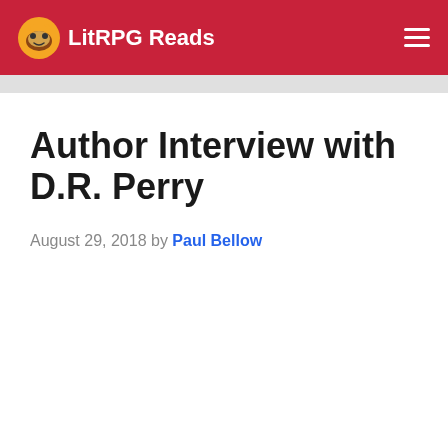LitRPG Reads
Author Interview with D.R. Perry
August 29, 2018 by Paul Bellow